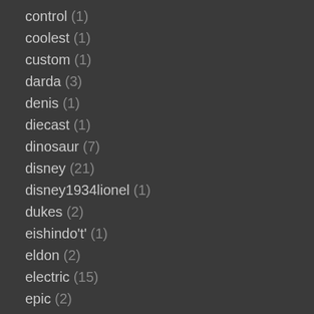control (1)
coolest (1)
custom (1)
darda (3)
denis (1)
diecast (1)
dinosaur (7)
disney (21)
disney1934lionel (1)
dukes (2)
eishindo't' (1)
eldon (2)
electric (15)
epic (2)
expanding (1)
experiment (2)
factory (1)
father (5)